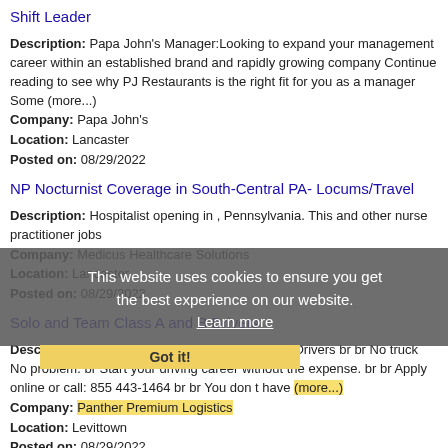Shift Leader
Description: Papa John's Manager:Looking to expand your management career within an established brand and rapidly growing company Continue reading to see why PJ Restaurants is the right fit for you as a manager Some (more...)
Company: Papa John's
Location: Lancaster
Posted on: 08/29/2022
NP Nocturnist Coverage in South-Central PA- Locums/Travel
Description: Hospitalist opening in , Pennsylvania. This and other nurse practitioner jobs
Company: Medicus Healthcare Solutions
Location: Lancaster
Posted on: 08/29/2022
Solo and Team Class A and B Drivers
Description: br br Solo and Team Class A and B Drivers br br No truck No problem. br Start your driving career without the expense. br br Apply online or call: 855 443-1464 br br You don t have (more...)
Company: Panther Premium Logistics
Location: Levittown
Posted on: 08/29/2022
This website uses cookies to ensure you get the best experience on our website. Learn more Got it!